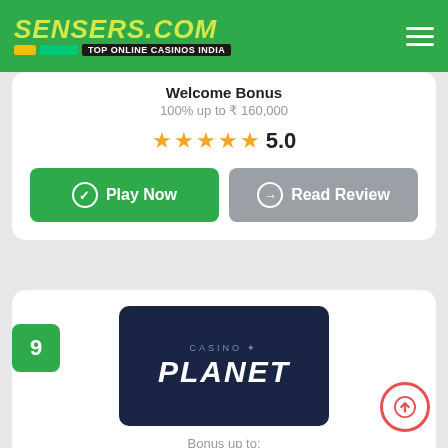SENSERS.COM — TOP ONLINE CASINOS INDIA
Welcome Bonus
100% up to ₹ 160,000
★★★★★ 5.0
Play Now
Read Review
[Figure (logo): Casino Planet logo on dark navy background]
Bonus up to:
₹ 60,000
Welcome Bonus
100% up to ₹ 60,000